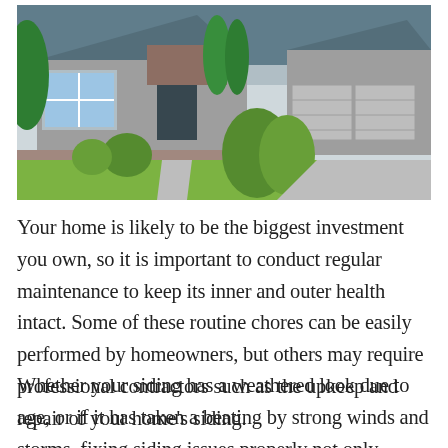[Figure (photo): Exterior photo of a well-maintained suburban home with gray siding, brick accents, large bay window, two-car garage, and lush green landscaping including ornamental grasses and a stone retaining wall.]
Your home is likely to be the biggest investment you own, so it is important to conduct regular maintenance to keep its inner and outer health intact. Some of these routine chores can be easily performed by homeowners, but others may require professional contractors such as the upkeep and repair of your home's siding.
Whether your siding has a weathered look due to age, or if it has taken a beating by strong winds and storms, fixing siding issues properly not only enhances curb appeal but also protects the